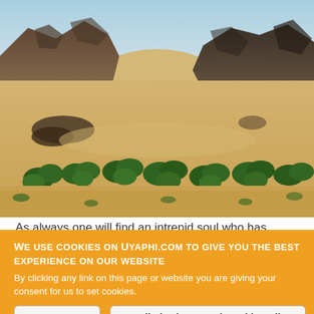[Figure (photo): Aerial/elevated landscape photo of a desert scene with sandy plains, scattered green acacia trees along a dry riverbed, rocky mountains in the background, and a pale blue sky.]
As always one will find an intrepid soul who has taken the
WE USE COOKIES ON UYAPHI.COM TO GIVE YOU THE BEST EXPERIENCE ON OUR WEBSITE
By clicking any link on this page or website you are giving your consent for us to set cookies.
OK, I agree
Detailed Privacy and Cookie Policy